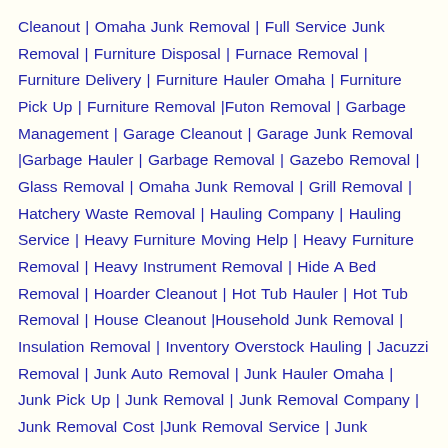Cleanout | Omaha Junk Removal | Full Service Junk Removal | Furniture Disposal | Furnace Removal | Furniture Delivery | Furniture Hauler Omaha | Furniture Pick Up | Furniture Removal |Futon Removal | Garbage Management | Garage Cleanout | Garage Junk Removal |Garbage Hauler | Garbage Removal | Gazebo Removal | Glass Removal | Omaha Junk Removal | Grill Removal | Hatchery Waste Removal | Hauling Company | Hauling Service | Heavy Furniture Moving Help | Heavy Furniture Removal | Heavy Instrument Removal | Hide A Bed Removal | Hoarder Cleanout | Hot Tub Hauler | Hot Tub Removal | House Cleanout |Household Junk Removal | Insulation Removal | Inventory Overstock Hauling | Jacuzzi Removal | Junk Auto Removal | Junk Hauler Omaha | Junk Pick Up | Junk Removal | Junk Removal Company | Junk Removal Cost |Junk Removal Service | Junk Removal Services For Real Estate | King Mattress Removal | Kitchen Demolition | Omaha Junk Removal | Leaf Removal | Loading Unloading Help |Loveseat Removal | Lumber Hauler Omaha | Lumber Removal | Mattress Disposal | Mattress Hauler Omaha | Merchandise